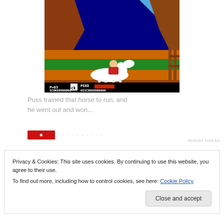[Figure (screenshot): Retro video game screenshot showing a rider on a white horse in a western desert landscape with mesas. The HUD shows: P=03, a cat icon, PERO with a red health bar, SCORE0000000, HISCORE0000000.]
Puss trained that horse to run, and he went out and won...
[Figure (other): Ad area: red banner logo with snowflake design on left, dotted navigation dots on right. Small 'REPORT THIS AD' link in upper right.]
Privacy & Cookies: This site uses cookies. By continuing to use this website, you agree to their use.
To find out more, including how to control cookies, see here: Cookie Policy
Close and accept